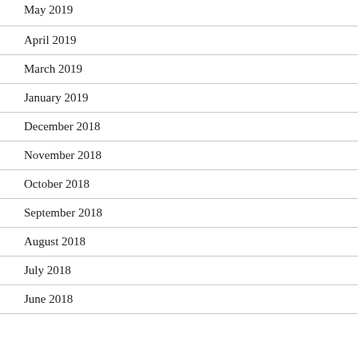May 2019
April 2019
March 2019
January 2019
December 2018
November 2018
October 2018
September 2018
August 2018
July 2018
June 2018